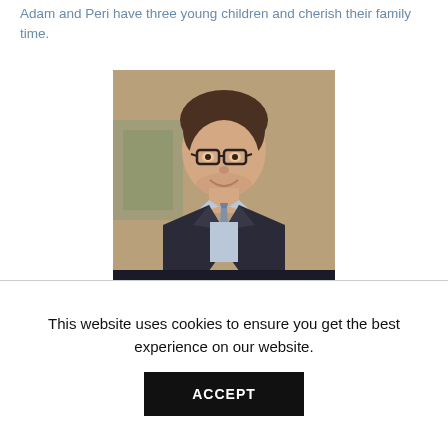Adam and Peri have three young children and cherish their family time.
[Figure (photo): Professional headshot of a man with glasses, dark curly hair, wearing a dark suit with a light blue shirt and tie, smiling, against a warm beige/tan background with a blurred artwork on the wall.]
This website uses cookies to ensure you get the best experience on our website.
ACCEPT